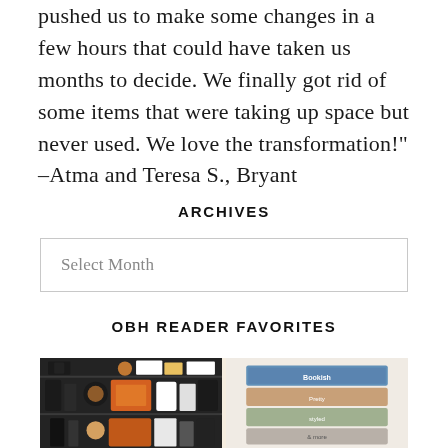pushed us to make some changes in a few hours that could have taken us months to decide. We finally got rid of some items that were taking up space but never used. We love the transformation!" –Atma and Teresa S., Bryant
ARCHIVES
Select Month
OBH READER FAVORITES
[Figure (photo): Two side-by-side product photos: left shows cosmetics/makeup items arranged on a dark background; right shows stacked books or organizers on a light beige background.]